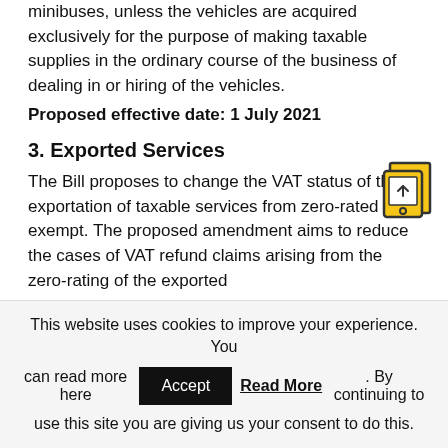minibuses, unless the vehicles are acquired exclusively for the purpose of making taxable supplies in the ordinary course of the business of dealing in or hiring of the vehicles.
Proposed effective date: 1 July 2021
3. Exported Services
The Bill proposes to change the VAT status of the exportation of taxable services from zero-rated to exempt. The proposed amendment aims to reduce the cases of VAT refund claims arising from the zero-rating of the exported
[Figure (illustration): Yellow icon showing stacked documents or tablets]
This website uses cookies to improve your experience. You can read more here Accept Read More. By continuing to use this site you are giving us your consent to do this.